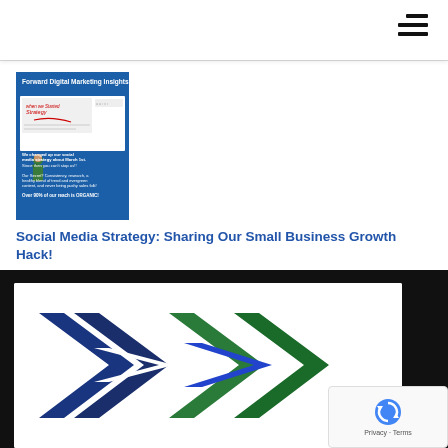[Figure (logo): Hamburger menu icon (three horizontal lines) in top right corner]
[Figure (illustration): Forward Digital Marketing Insights thumbnail image showing a social media strategy infographic with a person, whiteboard, and text about organic reach]
Social Media Strategy: Sharing Our Small Business Growth Hack!
[Figure (logo): Forward Digital Marketing logo with navy blue and green chevron/arrow shapes on white background]
[Figure (other): Google reCAPTCHA badge with Privacy and Terms text]